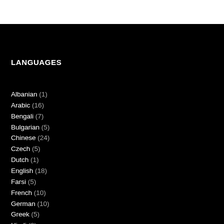LANGUAGES
Albanian (1)
Arabic (16)
Bengali (7)
Bulgarian (5)
Chinese (24)
Czech (5)
Dutch (1)
English (18)
Farsi (5)
French (10)
German (10)
Greek (5)
Hindi (2)
Hungarian (10)
Italian (7)
Japanese (6)
Latvian (6)